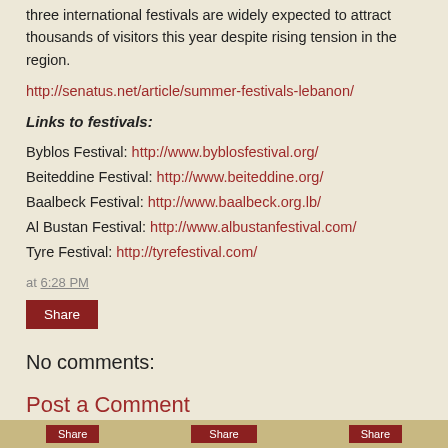three international festivals are widely expected to attract thousands of visitors this year despite rising tension in the region.
http://senatus.net/article/summer-festivals-lebanon/
Links to festivals:
Byblos Festival: http://www.byblosfestival.org/
Beiteddine Festival: http://www.beiteddine.org/
Baalbeck Festival: http://www.baalbeck.org.lb/
Al Bustan Festival: http://www.albustanfestival.com/
Tyre Festival: http://tyrefestival.com/
at 6:28 PM
Share
No comments:
Post a Comment